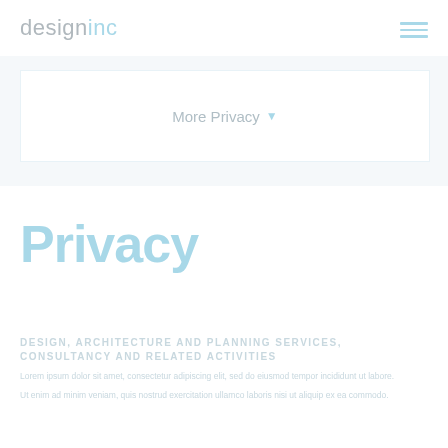designinc
More Privacy ▼
Privacy
DESIGN, ARCHITECTURE AND PLANNING SERVICES, CONSULTANCY AND RELATED ACTIVITIES
Lorem ipsum dolor sit amet, consectetur adipiscing elit, sed do eiusmod tempor incididunt ut labore.
Ut enim ad minim veniam, quis nostrud exercitation ullamco laboris nisi ut aliquip ex ea commodo.